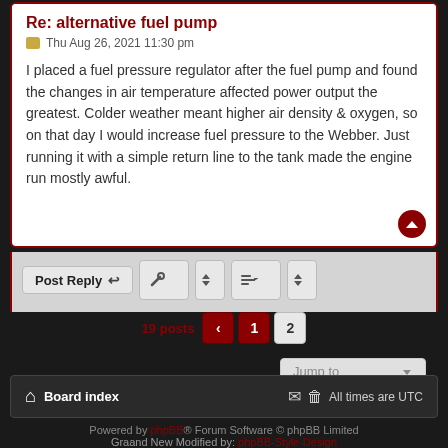Re: alternative fuel pump
Thu Aug 26, 2021 11:30 pm
I placed a fuel pressure regulator after the fuel pump and found the changes in air temperature affected power output the greatest. Colder weather meant higher air density & oxygen, so on that day I would increase fuel pressure to the Webber. Just running it with a simple return line to the tank made the engine run mostly awful.
19 posts
1  2
Jump to
Board index  All times are UTC
Powered by phpBB® Forum Software © phpBB Limited
Graand New Modified by: phpBB-Style-Design
Privacy | Terms